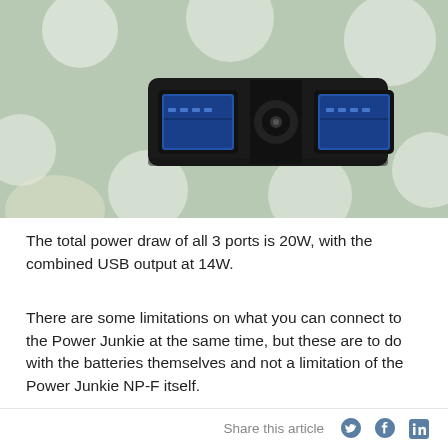[Figure (photo): Close-up photo of a black Power Junkie NP-F device with two blue USB ports and a circular DC power connector in the middle, placed on a green fabric with white polka dots.]
The total power draw of all 3 ports is 20W, with the combined USB output at 14W.
There are some limitations on what you can connect to the Power Junkie at the same time, but these are to do with the batteries themselves and not a limitation of the Power Junkie NP-F itself.
Say, for example, you wish to power 2 small USB lamps which
Share this article